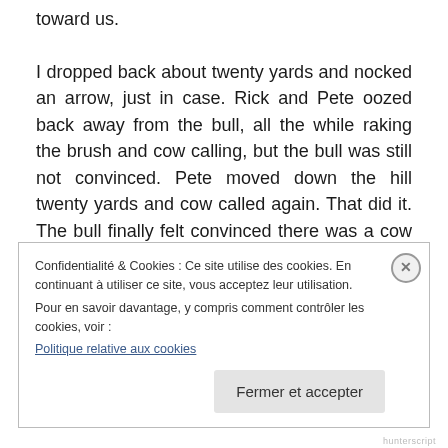toward us.

I dropped back about twenty yards and nocked an arrow, just in case. Rick and Pete oozed back away from the bull, all the while raking the brush and cow calling, but the bull was still not convinced. Pete moved down the hill twenty yards and cow called again. That did it. The bull finally felt convinced there was a cow there and came out broadside, ten yards, from Larry, who sent a shaft into both of its lungs. The bull ran about thirty yards, Pete moaned his best cow call, and the bull stopped, snorted, started to
Confidentialité & Cookies : Ce site utilise des cookies. En continuant à utiliser ce site, vous acceptez leur utilisation.
Pour en savoir davantage, y compris comment contrôler les cookies, voir :
Politique relative aux cookies
hunterscript